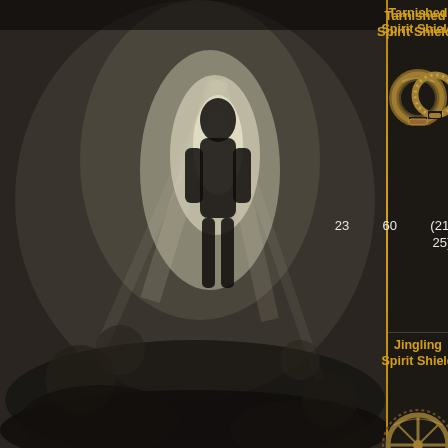[Figure (illustration): Dark fantasy game background showing a glowing figure or statue surrounded by swirling dark mist and light rays, typical of an RPG game wiki page]
| Item | Icon | Col3 | Col4 | Col5 | Col6 |
| --- | --- | --- | --- | --- | --- |
| Tarnished Spirit Shield | [ring icon] | 23 | 60 | (21-25) | 24 |
| Jingling Spirit Shield | [ornate shield icon] | 28 | 71 | (25-29) | 23 |
| Exhausting Spirit Shield | [lantern icon] | 30 | 76 | (24-28) | 20 |